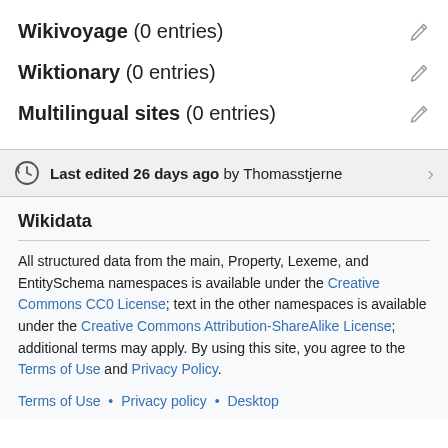Wikivoyage (0 entries)
Wiktionary (0 entries)
Multilingual sites (0 entries)
Last edited 26 days ago by Thomasstjerne
Wikidata
All structured data from the main, Property, Lexeme, and EntitySchema namespaces is available under the Creative Commons CC0 License; text in the other namespaces is available under the Creative Commons Attribution-ShareAlike License; additional terms may apply. By using this site, you agree to the Terms of Use and Privacy Policy.
Terms of Use • Privacy policy • Desktop